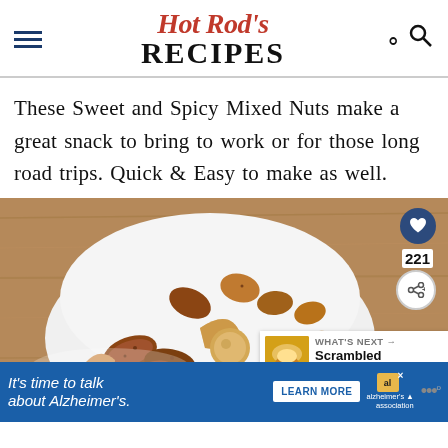Hot Rod's RECIPES
These Sweet and Spicy Mixed Nuts make a great snack to bring to work or for those long road trips. Quick & Easy to make as well.
[Figure (photo): A white bowl filled with sweet and spicy mixed nuts including cashews, pecans, and almonds coated in a spiced glaze, placed on a wooden surface. Overlay UI elements include a heart/save button showing 221, a share button, and a 'What's Next: Scrambled Egg Muffins' suggestion panel.]
It's time to talk about Alzheimer's.